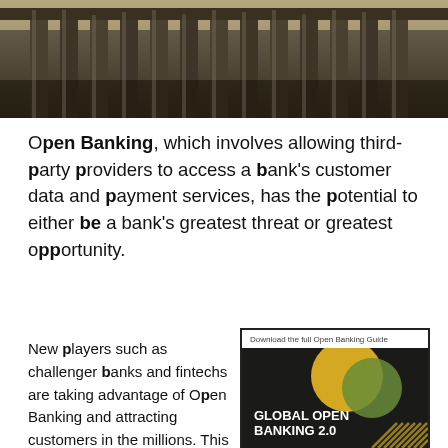[Figure (photo): Black and white photograph of a classical bank building facade with large stone columns]
Open Banking, which involves allowing third-party providers to access a bank's customer data and payment services, has the potential to either be a bank's greatest threat or greatest opportunity.
New players such as challenger banks and fintechs are taking advantage of Open Banking and attracting customers in the millions. This customer migration has the potential to erode away at an incumbent's current
[Figure (illustration): Book cover for 'Global Open Banking 2.0' with caption 'Download the full Open Banking Guide'. Dark background with overlapping yellow and green circles, diagonal stripe pattern at bottom, and Openwave logo.]